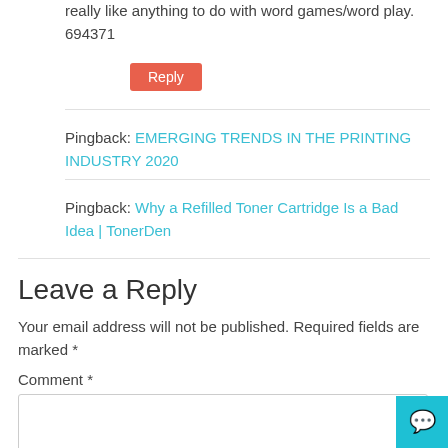really like anything to do with word games/word play. 694371
Reply
Pingback: EMERGING TRENDS IN THE PRINTING INDUSTRY 2020
Pingback: Why a Refilled Toner Cartridge Is a Bad Idea | TonerDen
Leave a Reply
Your email address will not be published. Required fields are marked *
Comment *